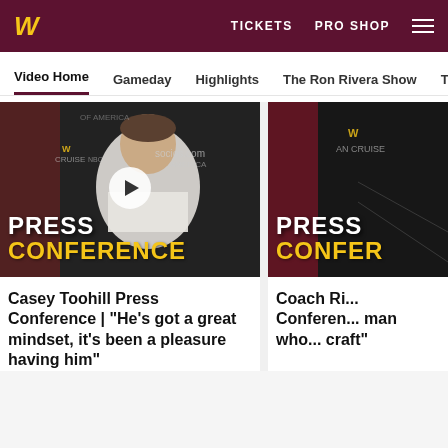W  TICKETS  PRO SHOP
Video Home  Gameday  Highlights  The Ron Rivera Show  The R
[Figure (screenshot): Press conference video thumbnail showing a player in white Nike shirt in front of socios.com and NBC Sports branded backdrop. White text says PRESS and gold text says CONFERENCE. A play button is visible in the center.]
Casey Toohill Press Conference | "He's got a great mindset, it's been a pleasure having him"
[Figure (screenshot): Press conference video thumbnail partially visible, showing red and dark background with W logo. White text says PRESS and gold text says CONFER (truncated).]
Coach Ri... Conference... man who... craft"